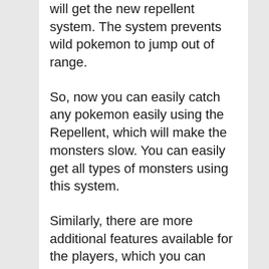will get the new repellent system. The system prevents wild pokemon to jump out of range.
So, now you can easily catch any pokemon easily using the Repellent, which will make the monsters slow. You can easily get all types of monsters using this system.
Similarly, there are more additional features available for the players, which you can explore in Eris Emerald Pokémon. So, if you want to get the ROM, then no need to search on the web.
We are here with the simplest method